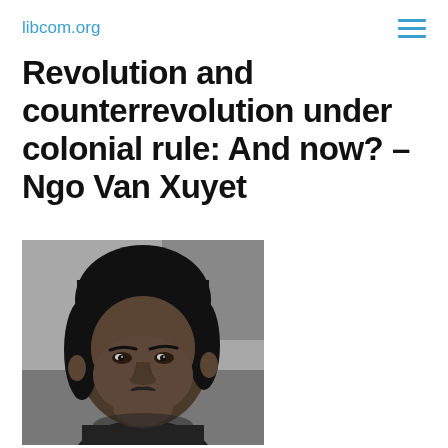libcom.org
Revolution and counterrevolution under colonial rule: And now? – Ngo Van Xuyet
[Figure (photo): Black and white portrait photograph of Ngo Van Xuyet, a man with dark medium-length hair and a small mustache, facing slightly to the right.]